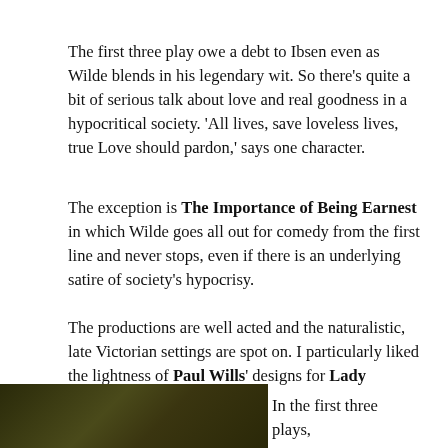The first three play owe a debt to Ibsen even as Wilde blends in his legendary wit. So there's quite a bit of serious talk about love and real goodness in a hypocritical society. 'All lives, save loveless lives, true Love should pardon,' says one character.
The exception is The Importance of Being Earnest in which Wilde goes all out for comedy from the first line and never stops, even if there is an underlying satire of society's hypocrisy.
The productions are well acted and the naturalistic, late Victorian settings are spot on. I particularly liked the lightness of Paul Wills' designs for Lady Windermere's Fan.
[Figure (photo): Dark naturalistic photo, likely a theater production still with late Victorian setting, mostly dark tones of brown and gold]
In the first three plays,